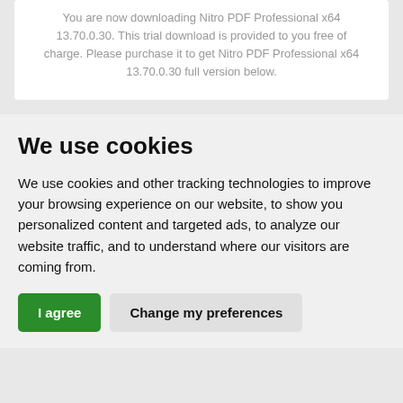You are now downloading Nitro PDF Professional x64 13.70.0.30. This trial download is provided to you free of charge. Please purchase it to get Nitro PDF Professional x64 13.70.0.30 full version below.
We use cookies
We use cookies and other tracking technologies to improve your browsing experience on our website, to show you personalized content and targeted ads, to analyze our website traffic, and to understand where our visitors are coming from.
I agree | Change my preferences